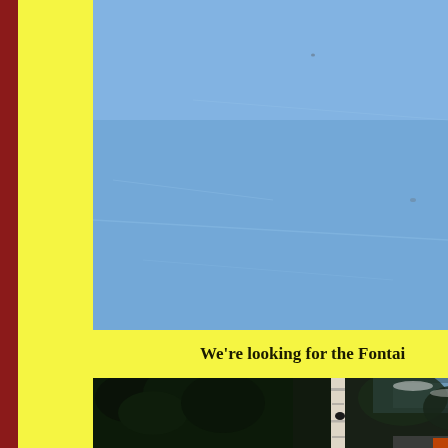[Figure (photo): Blue sky with snow/winter landscape, slightly textured light blue surface filling the upper right portion of the page]
We're looking for the Fontai
[Figure (photo): Winter forest scene with dark evergreen trees and white birch trees, road visible at bottom right, blue sky visible through trees, some snow on branches]